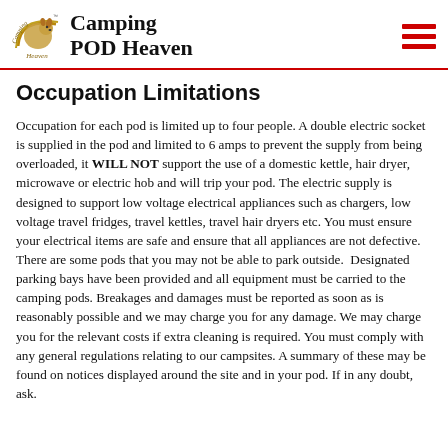Camping POD Heaven
Occupation Limitations
Occupation for each pod is limited up to four people. A double electric socket is supplied in the pod and limited to 6 amps to prevent the supply from being overloaded, it WILL NOT support the use of a domestic kettle, hair dryer, microwave or electric hob and will trip your pod. The electric supply is designed to support low voltage electrical appliances such as chargers, low voltage travel fridges, travel kettles, travel hair dryers etc. You must ensure your electrical items are safe and ensure that all appliances are not defective. There are some pods that you may not be able to park outside. Designated parking bays have been provided and all equipment must be carried to the camping pods. Breakages and damages must be reported as soon as is reasonably possible and we may charge you for any damage. We may charge you for the relevant costs if extra cleaning is required. You must comply with any general regulations relating to our campsites. A summary of these may be found on notices displayed around the site and in your pod. If in any doubt, ask.